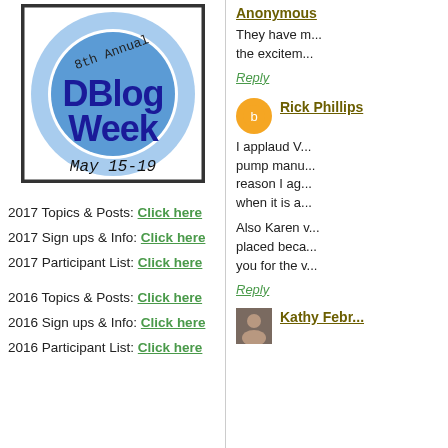[Figure (illustration): 8th Annual DBlog Week badge — blue circle with 'DBlog Week' text in dark blue, 'May 15-19' in black handwriting, '8th Annual' in handwriting at top, on white background with dark border]
2017 Topics & Posts: Click here
2017 Sign ups & Info: Click here
2017 Participant List: Click here
2016 Topics & Posts: Click here
2016 Sign ups & Info: Click here
2016 Participant List: Click here
Anonymous
They have m... the excitem...
Reply
Rick Phillips
I applaud V... pump manu... reason I ag... when it is a...
Also Karen v... placed beca... you for the v...
Reply
Kathy Febr...